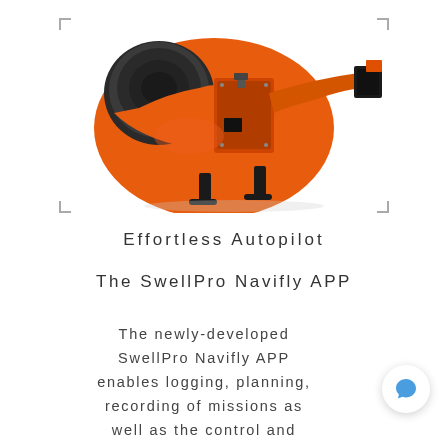[Figure (photo): Close-up photo of an orange SwellPro drone showing the body, motor mount, and camera attachment hardware from above at an angle]
Effortless Autopilot
The SwellPro Navifly APP
The newly-developed SwellPro Navifly APP enables logging, planning, recording of missions as well as the control and parameter setting of